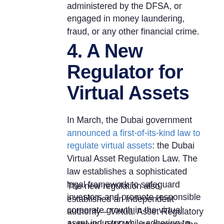administered by the DFSA, or engaged in money laundering, fraud, or any other financial crime.
4. A New Regulator for Virtual Assets
In March, the Dubai government announced a first-of-its-kind law to regulate virtual assets: the Dubai Virtual Asset Regulation Law. The law establishes a sophisticated legal framework to safeguard investors and promote responsible corporate growth in the virtual asset industry while adhering to the highest international standards.
The new regulation also established an independent authority – Virtual Asset Regulatory Authority (VARA) – to oversee the regulation, licensing and governance of non-fungible tokens (NFTs), cryptocurrencies and other digital assets.